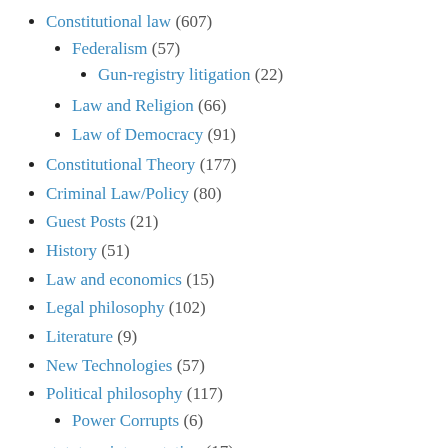Constitutional law (607)
Federalism (57)
Gun-registry litigation (22)
Law and Religion (66)
Law of Democracy (91)
Constitutional Theory (177)
Criminal Law/Policy (80)
Guest Posts (21)
History (51)
Law and economics (15)
Legal philosophy (102)
Literature (9)
New Technologies (57)
Political philosophy (117)
Power Corrupts (6)
statutory interpretation (17)